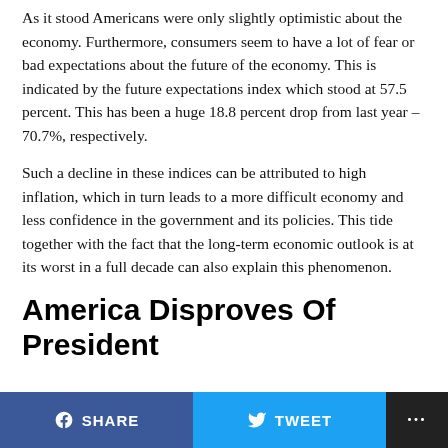As it stood Americans were only slightly optimistic about the economy. Furthermore, consumers seem to have a lot of fear or bad expectations about the future of the economy. This is indicated by the future expectations index which stood at 57.5 percent. This has been a huge 18.8 percent drop from last year – 70.7%, respectively.
Such a decline in these indices can be attributed to high inflation, which in turn leads to a more difficult economy and less confidence in the government and its policies. This tide together with the fact that the long-term economic outlook is at its worst in a full decade can also explain this phenomenon.
America Disproves Of President
SHARE   TWEET   ...